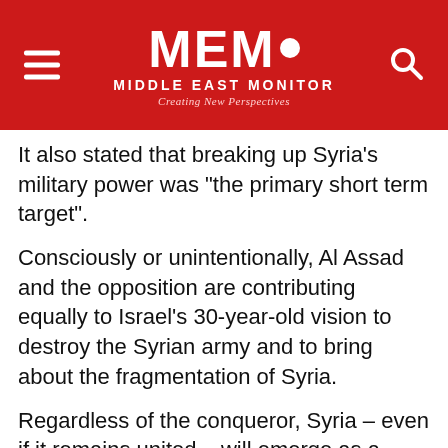MEMO MIDDLE EAST MONITOR Creating New Perspectives
It also stated that breaking up Syria's military power was "the primary short term target".
Consciously or unintentionally, Al Assad and the opposition are contributing equally to Israel's 30-year-old vision to destroy the Syrian army and to bring about the fragmentation of Syria.
Regardless of the conqueror, Syria – even if it remains united – will emerge as a devastated nation that relies on international benefactors to rebuild its infrastructure and economy.
As such, Syrians will lose their bona fide